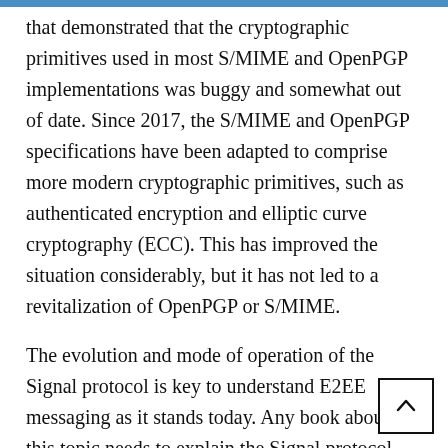that demonstrated that the cryptographic primitives used in most S/MIME and OpenPGP implementations was buggy and somewhat out of date. Since 2017, the S/MIME and OpenPGP specifications have been adapted to comprise more modern cryptographic primitives, such as authenticated encryption and elliptic curve cryptography (ECC). This has improved the situation considerably, but it has not led to a revitalization of OpenPGP or S/MIME.
The evolution and mode of operation of the Signal protocol is key to understand E2EE messaging as it stands today. Any book about this topic needs to explain the Signal protocol from scratch and explain the rationale behind its design in greater detail. This is the major purpose my new book entitled "End-to-End Encrypted Messaging" that is to be released